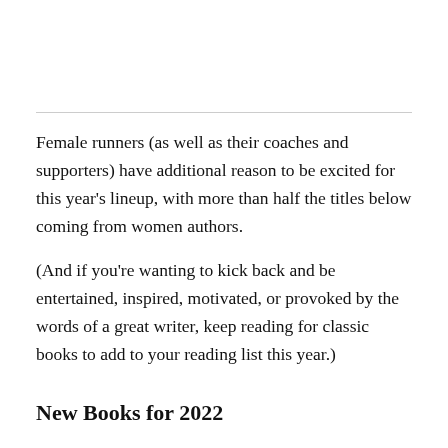Female runners (as well as their coaches and supporters) have additional reason to be excited for this year's lineup, with more than half the titles below coming from women authors.
(And if you're wanting to kick back and be entertained, inspired, motivated, or provoked by the words of a great writer, keep reading for classic books to add to your reading list this year.)
New Books for 2022